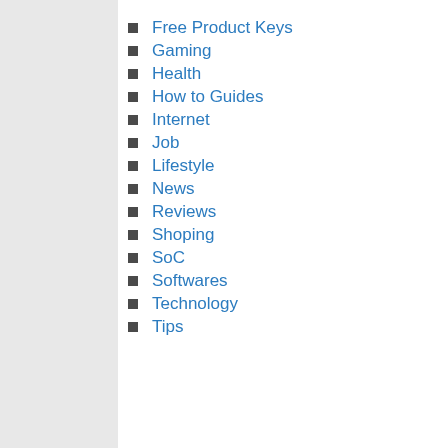Free Product Keys
Gaming
Health
How to Guides
Internet
Job
Lifestyle
News
Reviews
Shoping
SoC
Softwares
Technology
Tips